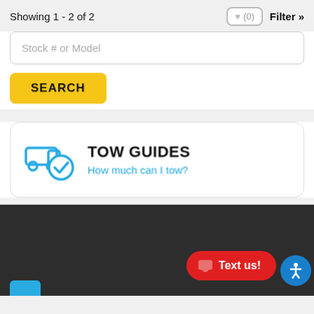Showing 1 - 2 of 2
Stock # or Model
SEARCH
[Figure (infographic): TOW GUIDES card with truck/checkmark icon, title 'TOW GUIDES', subtitle 'How much can I tow?']
TOW GUIDES
How much can I tow?
[Figure (screenshot): Dark footer bar with 'Text us!' red button and blue accessibility icon]